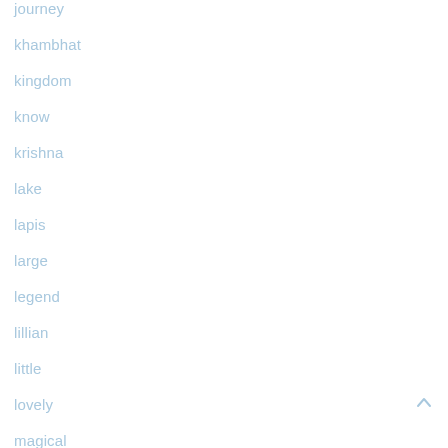journey
khambhat
kingdom
know
krishna
lake
lapis
large
legend
lillian
little
lovely
magical
magnificent